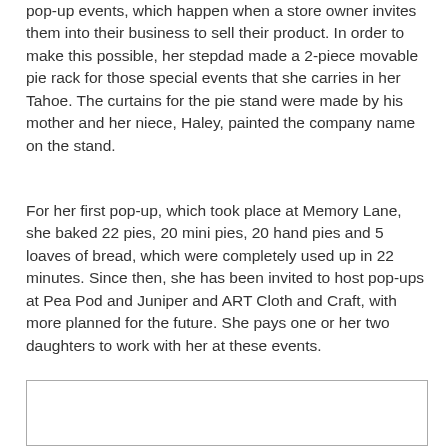Persnikitty pies can be ordered over the phone or purchased at pop-up events, which happen when a store owner invites them into their business to sell their product. In order to make this possible, her stepdad made a 2-piece movable pie rack for those special events that she carries in her Tahoe. The curtains for the pie stand were made by his mother and her niece, Haley, painted the company name on the stand.
For her first pop-up, which took place at Memory Lane, she baked 22 pies, 20 mini pies, 20 hand pies and 5 loaves of bread, which were completely used up in 22 minutes. Since then, she has been invited to host pop-ups at Pea Pod and Juniper and ART Cloth and Craft, with more planned for the future. She pays one or her two daughters to work with her at these events.
[Figure (other): Empty bordered box/rectangle, likely placeholder for an image]